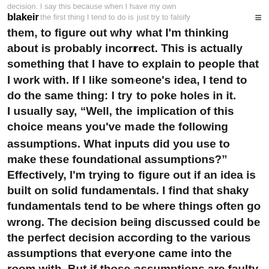decision. I say this because when I have my own ideas, the first thing I tend to do is just try to falsify
them, to figure out why what I'm thinking about is probably incorrect. This is actually something that I have to explain to people that I work with. If I like someone's idea, I tend to do the same thing: I try to poke holes in it.
I usually say, “Well, the implication of this choice means you've made the following assumptions. What inputs did you use to make these foundational assumptions?” Effectively, I'm trying to figure out if an idea is built on solid fundamentals. I find that shaky fundamentals tend to be where things often go wrong. The decision being discussed could be the perfect decision according to the various assumptions that everyone came into the room with. But if those assumptions are faulty, the seemingly perfect decision is faulty too. Interestingly, assumptions